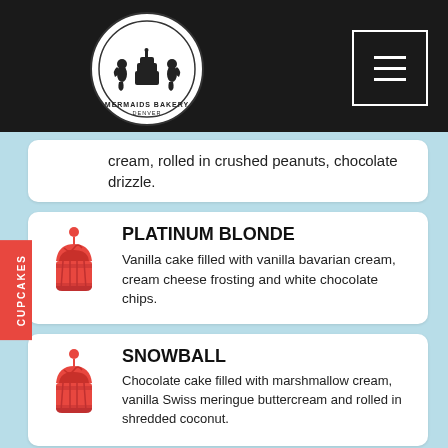[Figure (logo): Mermaids Bakery Denver logo — circular badge with two mermaid figures flanking a cake, black and white]
cream, rolled in crushed peanuts, chocolate drizzle.
PLATINUM BLONDE
Vanilla cake filled with vanilla bavarian cream, cream cheese frosting and white chocolate chips.
SNOWBALL
Chocolate cake filled with marshmallow cream, vanilla Swiss meringue buttercream and rolled in shredded coconut.
MARBLE
Chocolate and vanilla marble cake, vanilla Swiss meringue buttercream, chocolate